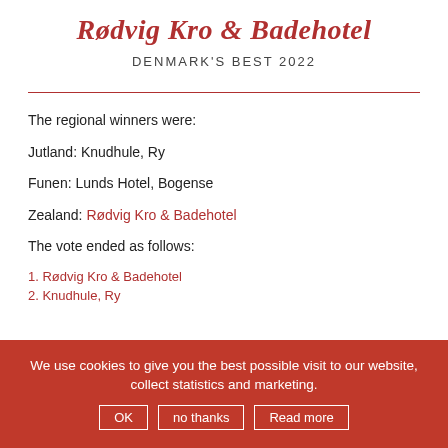Rødvig Kro & Badehotel
DENMARK'S BEST 2022
The regional winners were:
Jutland: Knudhule, Ry
Funen: Lunds Hotel, Bogense
Zealand: Rødvig Kro & Badehotel
The vote ended as follows:
1. Rødvig Kro & Badehotel
2. Knudhule, Ry
We use cookies to give you the best possible visit to our website, collect statistics and marketing.
OK | no thanks | Read more